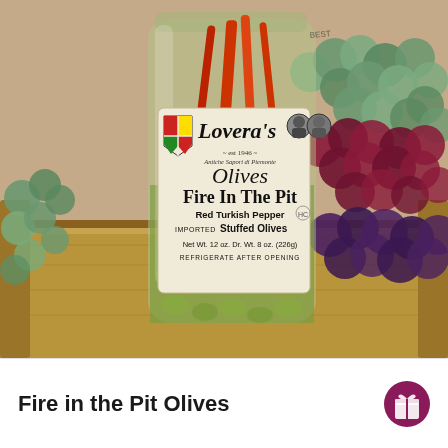[Figure (photo): Product photo of Lovera's 'Fire In The Pit' Olives jar. A glass jar containing green olives stuffed with red Turkish peppers, surrounded by decorative grapes (green, red, purple) in a wooden tray. The jar label reads: Lovera's est 1946, Antiche Sapori di Piemonte, Olives Fire In The Pit, Red Turkish Pepper, IMPORTED Stuffed Olives, Net Wt. 12 oz. Dr. Wt. 8 oz. (226g), REFRIGERATE AFTER OPENING. The label features a heraldic shield and two portrait medallions.]
Fire in the Pit Olives